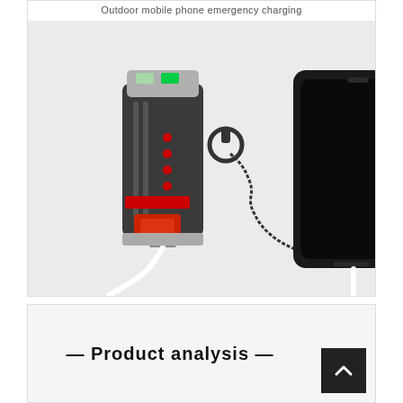Outdoor mobile phone emergency charging
[Figure (photo): Product photo showing a black/red/grey outdoor bicycle flashlight/power bank device connected via white USB cable to a smartphone (iPhone-style). The flashlight device has red indicator lights, a USB port at the bottom, and a coiled cable with a connector. Both items are on a light grey background.]
— Product analysis —